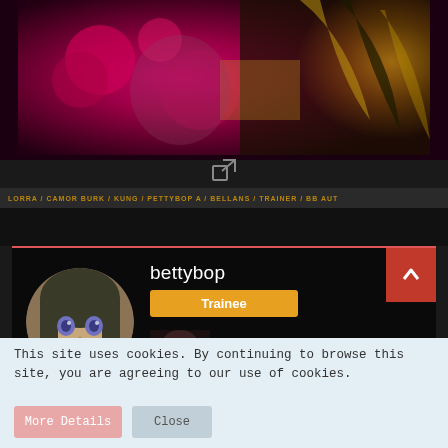[Figure (photo): A vivid magenta/pink themed performance or artistic photo showing a person with roses and feathers in elaborate costume]
[Figure (screenshot): External link icon (square with arrow)]
LORRA CAMOR BURK KUNG / PETTYBOP A / BELLANS [????] / TRAINER / BB AUT
[Figure (screenshot): Profile card for user bettybop with Trainee rank badge, anime avatar, and thumbnail photo. Navigation up/down arrows on right side.]
bettybop
Trainee
This site uses cookies. By continuing to browse this site, you are agreeing to our use of cookies.
More Details
Close